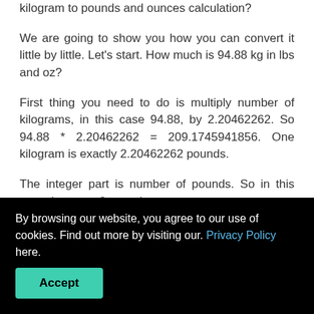kilogram to pounds and ounces calculation?
We are going to show you how you can convert it little by little. Let's start. How much is 94.88 kg in lbs and oz?
First thing you need to do is multiply number of kilograms, in this case 94.88, by 2.20462262. So 94.88 * 2.20462262 = 209.1745941856. One kilogram is exactly 2.20462262 pounds.
The integer part is number of pounds. So in this case there are 2 pounds.
ounces.
By browsing our website, you agree to our use of cookies. Find out more by visiting our. Privacy Policy here.